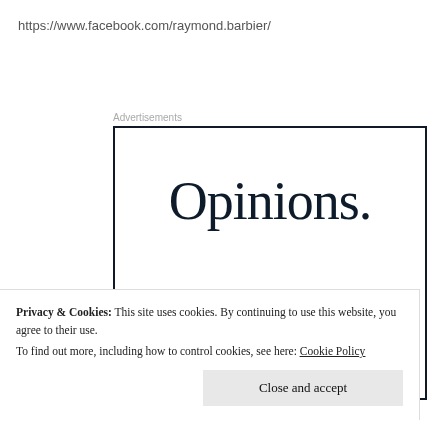https://www.facebook.com/raymond.barbier/
Advertisements
[Figure (other): Advertisement box with the text 'Opinions.' in serif font and 'We all' in bold serif font below it, on white background with dark border.]
Privacy & Cookies: This site uses cookies. By continuing to use this website, you agree to their use.
To find out more, including how to control cookies, see here: Cookie Policy
Close and accept